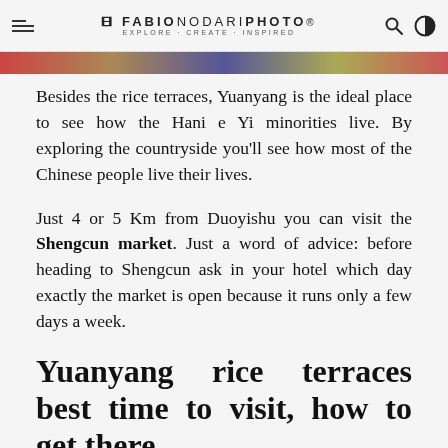FABIONODARIPHOTO EXPLORE · CREATE · INSPIRED
[Figure (photo): Colorful photo strip/banner image at the top of the page]
Besides the rice terraces, Yuanyang is the ideal place to see how the Hani e Yi minorities live. By exploring the countryside you'll see how most of the Chinese people live their lives.
Just 4 or 5 Km from Duoyishu you can visit the Shengcun market. Just a word of advice: before heading to Shengcun ask in your hotel which day exactly the market is open because it runs only a few days a week.
Yuanyang rice terraces best time to visit, how to get there